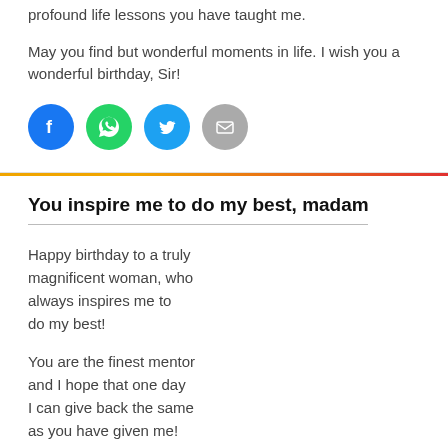profound life lessons you have taught me.
May you find but wonderful moments in life. I wish you a wonderful birthday, Sir!
[Figure (illustration): Four social sharing icons: Facebook (blue circle), WhatsApp (green circle), Twitter (cyan circle), Email (gray circle)]
You inspire me to do my best, madam
Happy birthday to a truly magnificent woman, who always inspires me to do my best!
You are the finest mentor and I hope that one day I can give back the same as you have given me!